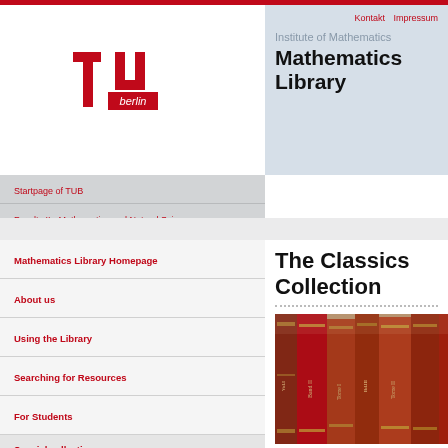[Figure (logo): TU Berlin red logo with 'berlin' text]
Kontakt  Impressum
Institute of Mathematics
Mathematics Library
Startpage of TUB
Faculty II - Mathematics and Natural Sciences
Institute of Mathematics
Mathematics Library Homepage
About us
Using the Library
Searching for Resources
For Students
Special collections
Classics Collection
Mathematical Devices
The Classics Collection
[Figure (photo): Photo of antique red-bound library books with gold lettering on their spines]